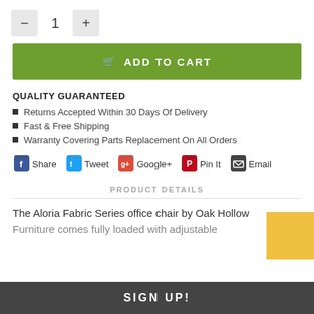— 1 +
ADD TO CART
QUALITY GUARANTEED
Returns Accepted Within 30 Days Of Delivery
Fast & Free Shipping
Warranty Covering Parts Replacement On All Orders
Share   Tweet   Google+   Pin It   Email
PRODUCT DETAILS
The Aloria Fabric Series office chair by Oak Hollow Furniture comes fully loaded with adjustable
SIGN UP!